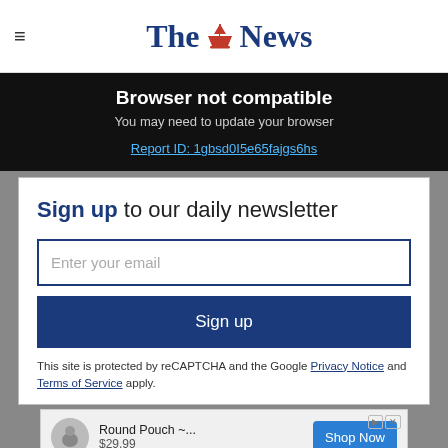The News
Browser not compatible
You may need to update your browser
Report ID: 1gbsd0I5e65fajgs6hs
Sign up to our daily newsletter
Enter your email
Sign up
This site is protected by reCAPTCHA and the Google Privacy Notice and Terms of Service apply.
[Figure (other): Advertisement banner showing Round Pouch product at $29.99 with Shop Now button]